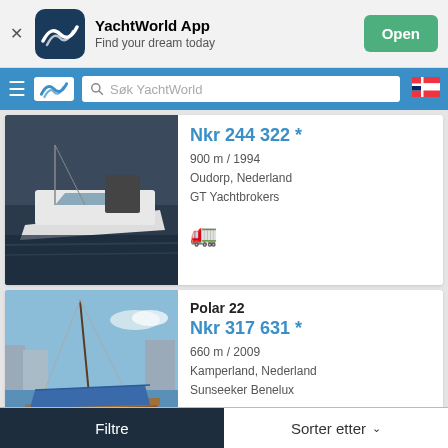[Figure (screenshot): YachtWorld App banner with logo, app name, description and Open button]
[Figure (screenshot): Navigation bar with hamburger menu, YachtWorld logo, search field showing Søk YachtWorld, and Norwegian flag]
[Figure (photo): Photo of a white motorboat moored at a marina]
Nkr 244 322 *
900 m / 1994
Oudorp, Nederland
GT Yachtbrokers
[Figure (photo): Photo of Polar 22 sailboat with blue cover at marina]
Polar 22
Nkr 317 631 *
660 m / 2009
Kamperland, Nederland
Sunseeker Benelux
Filtre
Sorter etter